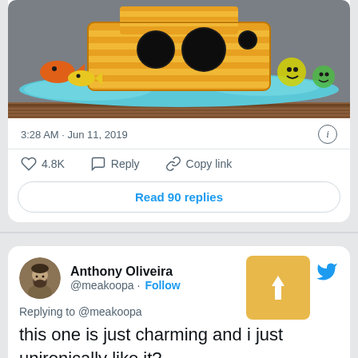[Figure (screenshot): Cartoon Noah's Ark image with yellow/orange striped ark, dark portholes, blue waves, orange and yellow fish on left, emoji-style faces on right, displayed on a wooden surface background.]
3:28 AM · Jun 11, 2019
♡ 4.8K   Reply   Copy link
Read 90 replies
Anthony Oliveira @meakoopa · Follow
Replying to @meakoopa
this one is just charming and i just unironically like it?